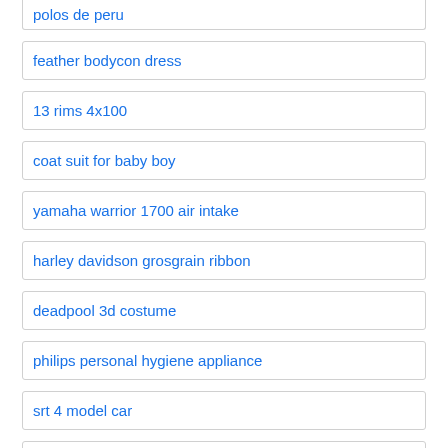polos de peru
feather bodycon dress
13 rims 4x100
coat suit for baby boy
yamaha warrior 1700 air intake
harley davidson grosgrain ribbon
deadpool 3d costume
philips personal hygiene appliance
srt 4 model car
turtleneck midi bodycon dress
air wire brush
camo earrings for guys